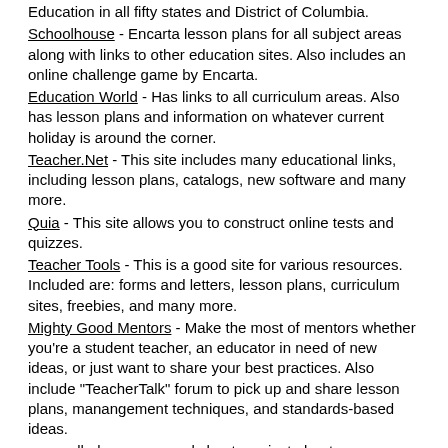Education in all fifty states and District of Columbia.
Schoolhouse - Encarta lesson plans for all subject areas along with links to other education sites. Also includes an online challenge game by Encarta.
Education World - Has links to all curriculum areas. Also has lesson plans and information on whatever current holiday is around the corner.
Teacher.Net - This site includes many educational links, including lesson plans, catalogs, new software and many more.
Quia - This site allows you to construct online tests and quizzes.
Teacher Tools - This is a good site for various resources. Included are: forms and letters, lesson plans, curriculum sites, freebies, and many more.
Mighty Good Mentors - Make the most of mentors whether you're a student teacher, an educator in need of new ideas, or just want to share your best practices. Also include "TeacherTalk" forum to pick up and share lesson plans, manangement techniques, and standards-based ideas.
www.edhelper.com - worksheets on just about every subject